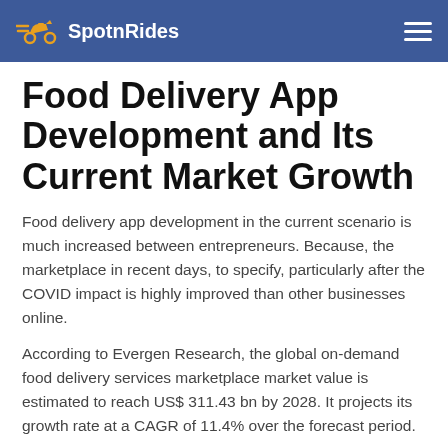SpotnRides
Food Delivery App Development and Its Current Market Growth
Food delivery app development in the current scenario is much increased between entrepreneurs. Because, the marketplace in recent days, to specify, particularly after the COVID impact is highly improved than other businesses online.
According to Evergen Research, the global on-demand food delivery services marketplace market value is estimated to reach US$ 311.43 bn by 2028. It projects its growth rate at a CAGR of 11.4% over the forecast period.